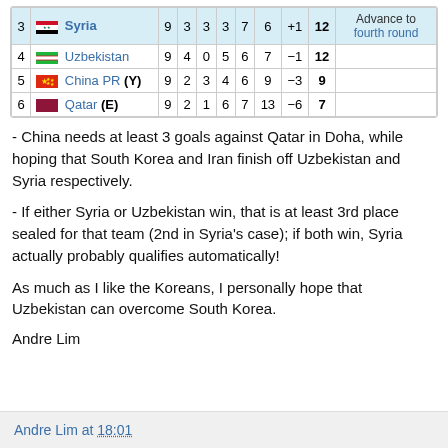| # | Team | P | W | D | L | GF | GA | GD | Pts | Notes |
| --- | --- | --- | --- | --- | --- | --- | --- | --- | --- | --- |
| 3 | Syria | 9 | 3 | 3 | 3 | 7 | 6 | +1 | 12 | Advance to fourth round |
| 4 | Uzbekistan | 9 | 4 | 0 | 5 | 6 | 7 | -1 | 12 |  |
| 5 | China PR (Y) | 9 | 2 | 3 | 4 | 6 | 9 | -3 | 9 |  |
| 6 | Qatar (E) | 9 | 2 | 1 | 6 | 7 | 13 | -6 | 7 |  |
- China needs at least 3 goals against Qatar in Doha, while hoping that South Korea and Iran finish off Uzbekistan and Syria respectively.
- If either Syria or Uzbekistan win, that is at least 3rd place sealed for that team (2nd in Syria's case); if both win, Syria actually probably qualifies automatically!
As much as I like the Koreans, I personally hope that Uzbekistan can overcome South Korea.
Andre Lim
Andre Lim at 18:01